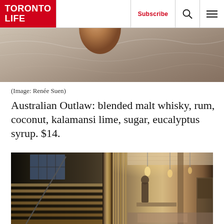Toronto Life — Subscribe
[Figure (photo): Close-up photo of a marble or stone surface with a terracotta/clay vessel or ball partially visible at the top, warm earthy tones]
(Image: Renée Suen)
Australian Outlaw: blended malt whisky, rum, coconut, kalamansi lime, sugar, eucalyptus syrup. $14.
[Figure (photo): Interior photo of a bar/restaurant showing a wooden staircase on the left, vertical wooden slats/column in the center, and a warm-lit dining/bar area on the right with a person standing at the bar and hanging pendant lights]